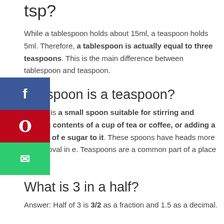tsp?
While a tablespoon holds about 15ml, a teaspoon holds 5ml. Therefore, a tablespoon is actually equal to three teaspoons. This is the main difference between tablespoon and teaspoon.
What spoon is a teaspoon?
A teaspoon is a small spoon suitable for stirring and sipping contents of a cup of tea or coffee, or adding a portion of sugar to it. These spoons have heads more or less oval in shape. Teaspoons are a common part of a place setting.
What is 3 in a half?
Answer: Half of 3 is 3/2 as a fraction and 1.5 as a decimal.
What is 3 tbsp doubled?